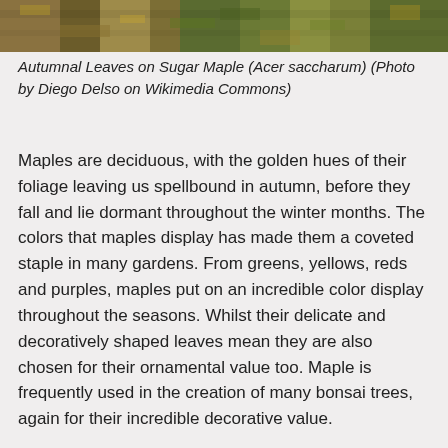[Figure (photo): Photograph of autumnal leaves on a Sugar Maple tree, showing golden, red and brown foliage against a ground cover of leaves and grass.]
Autumnal Leaves on Sugar Maple (Acer saccharum) (Photo by Diego Delso on Wikimedia Commons)
Maples are deciduous, with the golden hues of their foliage leaving us spellbound in autumn, before they fall and lie dormant throughout the winter months. The colors that maples display has made them a coveted staple in many gardens. From greens, yellows, reds and purples, maples put on an incredible color display throughout the seasons. Whilst their delicate and decoratively shaped leaves mean they are also chosen for their ornamental value too. Maple is frequently used in the creation of many bonsai trees, again for their incredible decorative value.